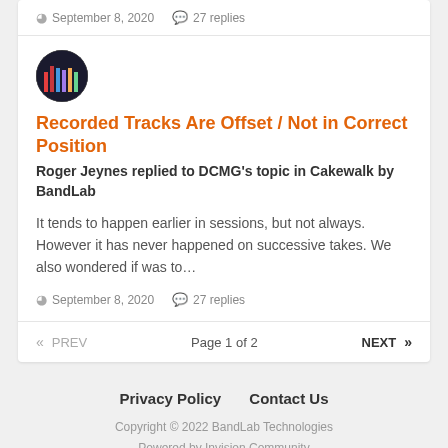September 8, 2020   27 replies
[Figure (illustration): Circular avatar with colorful equalizer bars graphic on dark background]
Recorded Tracks Are Offset / Not in Correct Position
Roger Jeynes replied to DCMG's topic in Cakewalk by BandLab
It tends to happen earlier in sessions, but not always. However it has never happened on successive takes. We also wondered if was to…
September 8, 2020   27 replies
« PREV   Page 1 of 2   NEXT »
Privacy Policy   Contact Us
Copyright © 2022 BandLab Technologies
Powered by Invision Community